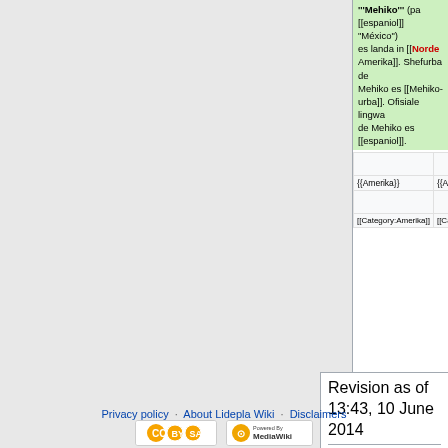'''Mehiko''' (pa [[espaniol]] "México") es landa in [[Norde Amerika]]. Shefurba de Mehiko es [[Mehiko-urba]]. Ofisiale lingwa de Mehiko es [[espaniol]].
|  |  |
| --- | --- |
|  |  |
| {{Amerika}} | {{Amerika}} |
|  |  |
| [[Category:Amerika]] | [[Category:Amerika]] |
Revision as of 13:43, 10 June 2014
Privacy policy   About Lidepla Wiki   Disclaimers